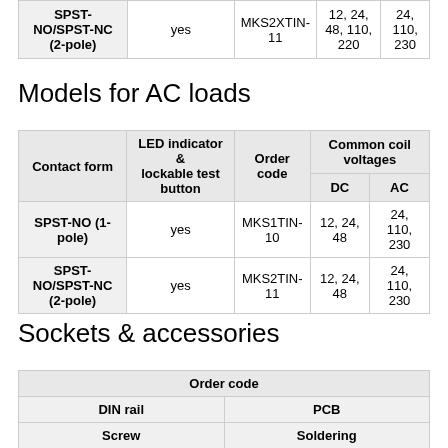| Contact form | LED indicator & lockable test button | Order code | DC | AC |
| --- | --- | --- | --- | --- |
| SPST-NO/SPST-NC (2-pole) | yes | MKS2XTIN-11 | 12, 24, 48, 110, 220 | 24, 110, 230 |
Models for AC loads
| Contact form | LED indicator & lockable test button | Order code | DC | AC |
| --- | --- | --- | --- | --- |
| SPST-NO (1-pole) | yes | MKS1TIN-10 | 12, 24, 48 | 24, 110, 230 |
| SPST-NO/SPST-NC (2-pole) | yes | MKS2TIN-11 | 12, 24, 48 | 24, 110, 230 |
Sockets & accessories
| Order code |
| --- |
| DIN rail | PCB |
| Screw | Soldering |
| Socket | Clip (set= 2 | Clip (set= 2 |